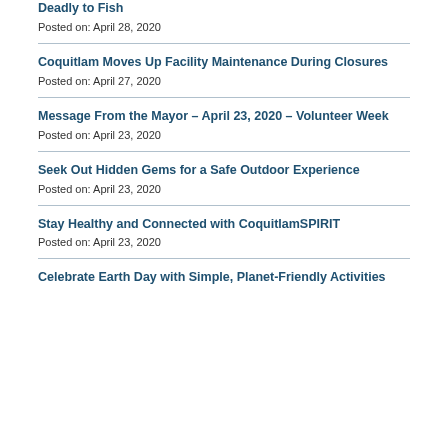Deadly to Fish
Posted on: April 28, 2020
Coquitlam Moves Up Facility Maintenance During Closures
Posted on: April 27, 2020
Message From the Mayor – April 23, 2020 – Volunteer Week
Posted on: April 23, 2020
Seek Out Hidden Gems for a Safe Outdoor Experience
Posted on: April 23, 2020
Stay Healthy and Connected with CoquitlamSPIRIT
Posted on: April 23, 2020
Celebrate Earth Day with Simple, Planet-Friendly Activities